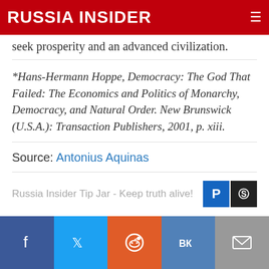RUSSIA INSIDER
seek prosperity and an advanced civilization.
*Hans-Hermann Hoppe, Democracy: The God That Failed: The Economics and Politics of Monarchy, Democracy, and Natural Order. New Brunswick (U.S.A.): Transaction Publishers, 2001, p. xiii.
Source: Antonius Aquinas
Russia Insider Tip Jar - Keep truth alive!